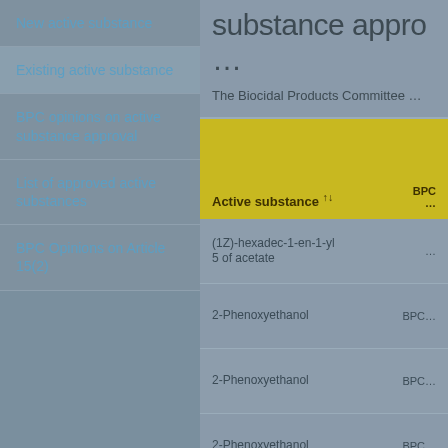New active substance
Existing active substance
BPC opinions on active substance approval
List of approved active substances
BPC Opinions on Article 15(2)
substance appro…
The Biocidal Products Committee …
| Active substance | BPC … |
| --- | --- |
| (1Z)-hexadec-1-en-1-yl 5 of acetate | … |
| 2-Phenoxyethanol | BPC… |
| 2-Phenoxyethanol | BPC… |
| 2-Phenoxyethanol | BPC… |